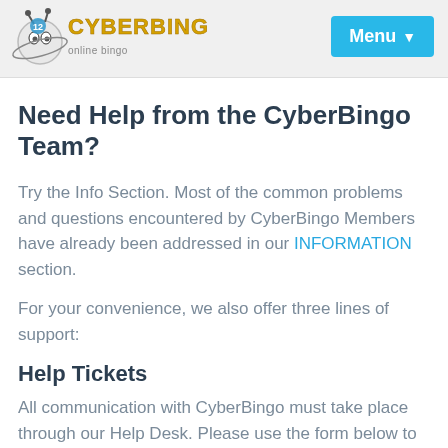CyberBingo — Menu
Need Help from the CyberBingo Team?
Try the Info Section. Most of the common problems and questions encountered by CyberBingo Members have already been addressed in our INFORMATION section.
For your convenience, we also offer three lines of support:
Help Tickets
All communication with CyberBingo must take place through our Help Desk. Please use the form below to enter your message to us. A support person will respond within 30 minutes, 24 hours a